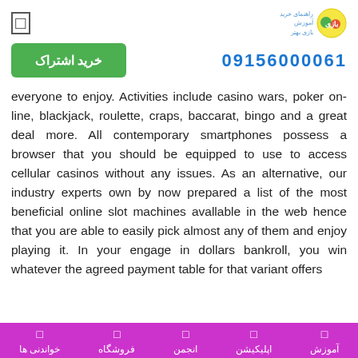خرید اشتراک | 09156000061
everyone to enjoy. Activities include casino wars, poker on-line, blackjack, roulette, craps, baccarat, bingo and a great deal more. All contemporary smartphones possess a browser that you should be equipped to use to access cellular casinos without any issues. As an alternative, our industry experts own by now prepared a list of the most beneficial online slot machines avallable in the web hence that you are able to easily pick almost any of them and enjoy playing it. In your engage in dollars bankroll, you win whatever the agreed payment table for that variant offers
آموزش | اپلیکیشن | انجمن | فروشگاه | خواندنی ها